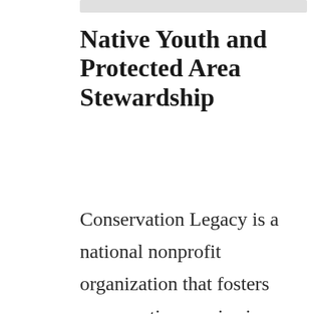Native Youth and Protected Area Stewardship
Conservation Legacy is a national nonprofit organization that fosters conservation service in support of communities and ecosystems. In 2016, Conservation Legacy